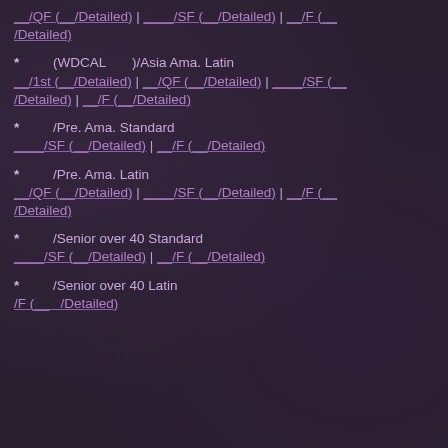__/QF (__/Detailed) | ____/SF (__/Detailed) | __/F (__/Detailed)
* (WDCAL )/Asia Ama. Latin __/1st (__/Detailed) | __/QF (__/Detailed) | ____/SF (__/Detailed) | __/F (__/Detailed)
* /Pre. Ama. Standard ____/SF (__/Detailed) | __/F (__/Detailed)
* /Pre. Ama. Latin __/QF (__/Detailed) | ____/SF (__/Detailed) | __/F (__/Detailed)
* /Senior over 40 Standard ____/SF (__/Detailed) | __/F (__/Detailed)
* /Senior over 40 Latin /F (__ /Detailed)